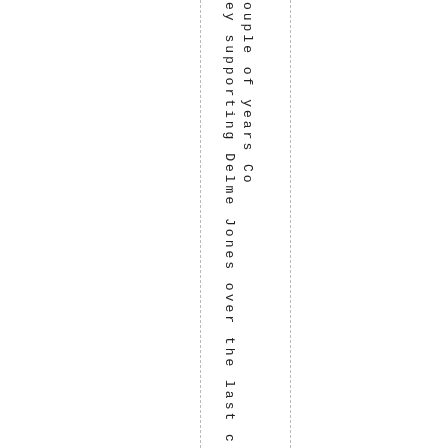ey supporting Delme Jones over the last couple of years Co